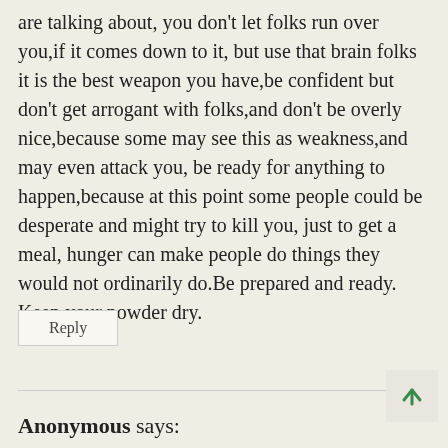are talking about, you don't let folks run over you,if it comes down to it, but use that brain folks it is the best weapon you have,be confident but don't get arrogant with folks,and don't be overly nice,because some may see this as weakness,and may even attack you, be ready for anything to happen,because at this point some people could be desperate and might try to kill you, just to get a meal, hunger can make people do things they would not ordinarily do.Be prepared and ready. Keep your powder dry.
Reply
Anonymous says: